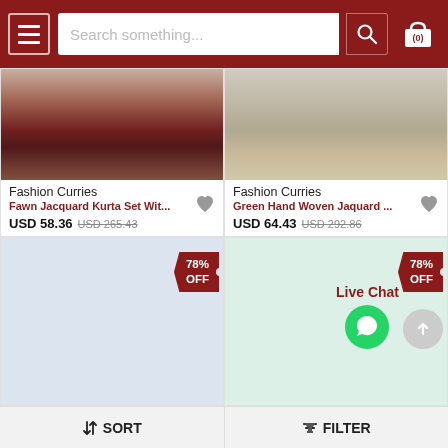[Figure (screenshot): E-commerce app header with hamburger menu, search bar, and cart icon]
Fashion Curries
Fawn Jacquard Kurta Set Wit...
USD 58.36  USD 265.43
Fashion Curries
Green Hand Woven Jaquard ...
USD 64.43  USD 292.86
[Figure (photo): Loading product card with blue background and 78% OFF tag]
[Figure (photo): Loading product card with green background and 78% OFF tag, Live Chat button]
Live Chat
SORT
FILTER